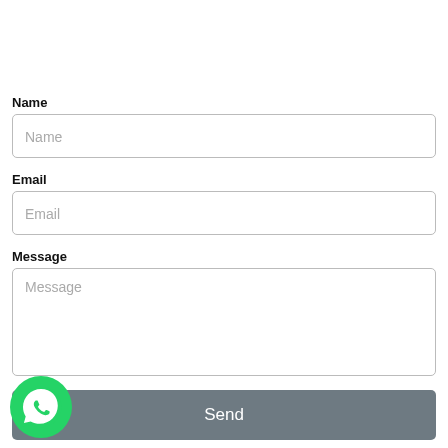Name
[Figure (screenshot): Name input field with placeholder text 'Name']
Email
[Figure (screenshot): Email input field with placeholder text 'Email']
Message
[Figure (screenshot): Message textarea with placeholder text 'Message']
[Figure (screenshot): Send button with gray background]
[Figure (logo): WhatsApp green circular logo in bottom left corner]